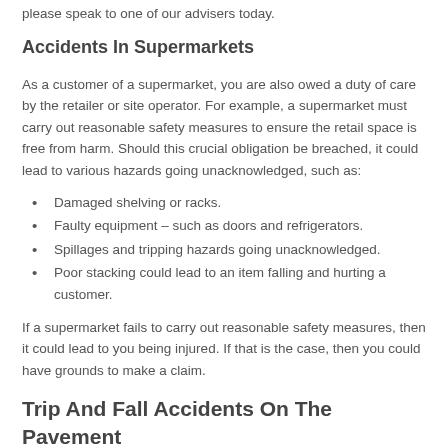please speak to one of our advisers today.
Accidents In Supermarkets
As a customer of a supermarket, you are also owed a duty of care by the retailer or site operator. For example, a supermarket must carry out reasonable safety measures to ensure the retail space is free from harm. Should this crucial obligation be breached, it could lead to various hazards going unacknowledged, such as:
Damaged shelving or racks.
Faulty equipment – such as doors and refrigerators.
Spillages and tripping hazards going unacknowledged.
Poor stacking could lead to an item falling and hurting a customer.
If a supermarket fails to carry out reasonable safety measures, then it could lead to you being injured. If that is the case, then you could have grounds to make a claim.
Trip And Fall Accidents On The Pavement